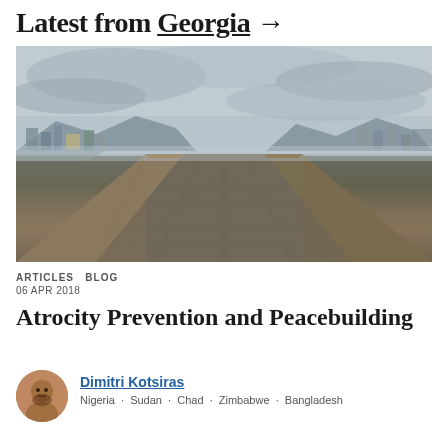Latest from Georgia →
[Figure (photo): A wide cobblestone bridge or road stretching away from the viewer into a misty cityscape with mountains and cloudy sky in the background. Overcast, grey-toned photograph.]
ARTICLES   BLOG
06 APR 2018
Atrocity Prevention and Peacebuilding
Dimitri Kotsiras
Nigeria · Sudan · Chad · Zimbabwe · Bangladesh